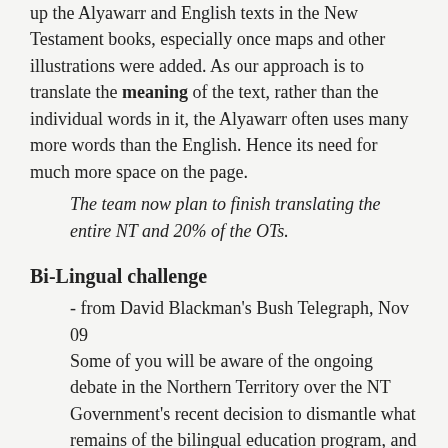up the Alyawarr and English texts in the New Testament books, especially once maps and other illustrations were added. As our approach is to translate the meaning of the text, rather than the individual words in it, the Alyawarr often uses many more words than the English. Hence its need for much more space on the page.
The team now plan to finish translating the entire NT and 20% of the OTs.
Bi-Lingual challenge
- from David Blackman's Bush Telegraph, Nov 09
Some of you will be aware of the ongoing debate in the Northern Territory over the NT Government's recent decision to dismantle what remains of the bilingual education program, and to teach only in English for the first four hours of each day. SIL assisted with the setting up of the bilingual program back in the seventies, when education in the NT was handled by the Commonwealth. Where the program was